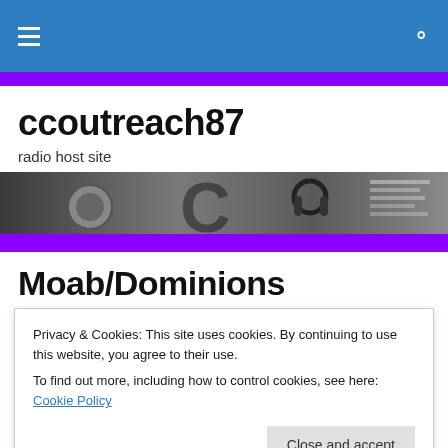ccoutreach87 — radio host site
ccoutreach87
radio host site
[Figure (photo): Black and white close-up photo of radio equipment and documents]
Moab/Dominions
Privacy & Cookies: This site uses cookies. By continuing to use this website, you agree to their use.
To find out more, including how to control cookies, see here: Cookie Policy
New International Version